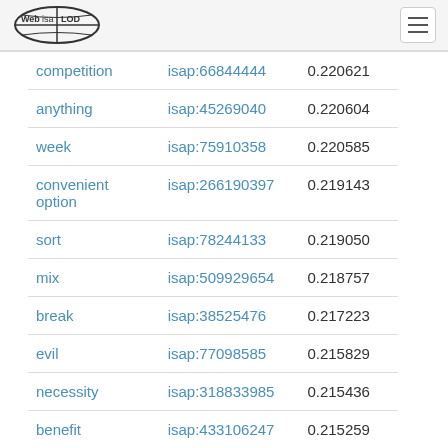Web isa LOD
| term | isap | score |
| --- | --- | --- |
| competition | isap:66844444 | 0.220621 |
| anything | isap:45269040 | 0.220604 |
| week | isap:75910358 | 0.220585 |
| convenient option | isap:266190397 | 0.219143 |
| sort | isap:78244133 | 0.219050 |
| mix | isap:509929654 | 0.218757 |
| break | isap:38525476 | 0.217223 |
| evil | isap:77098585 | 0.215829 |
| necessity | isap:318833985 | 0.215436 |
| benefit | isap:433106247 | 0.215259 |